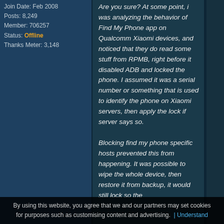Join Date: Feb 2008
Posts: 8,249
Member: 706257
Status: Offline
Thanks Meter: 3,148
Are you sure? At some point, i was analyzing the behavior of Find My Phone app on Qualcomm Xiaomi devices, and noticed that they do read some stuff from RPMB, right before it disabled ADB and locked the phone. I assumed it was a serial number or something that is used to identify the phone on Xiaomi servers, then apply the lock if server says so.

Blocking find my phone specific hosts prevented this from happening. It was possible to wipe the whole device, then restore it from backup, it would still lock so the
By using this website, you agree that we and our partners may set cookies for purposes such as customising content and advertising. | Understand